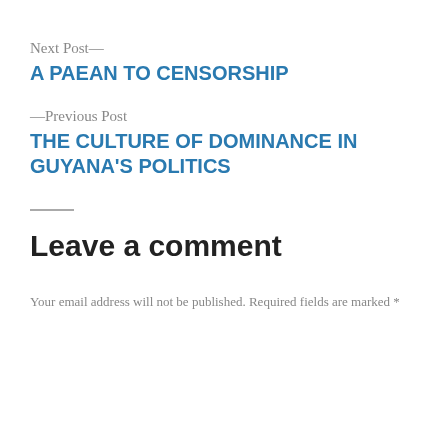Next Post—
A PAEAN TO CENSORSHIP
—Previous Post
THE CULTURE OF DOMINANCE IN GUYANA'S POLITICS
Leave a comment
Your email address will not be published. Required fields are marked *